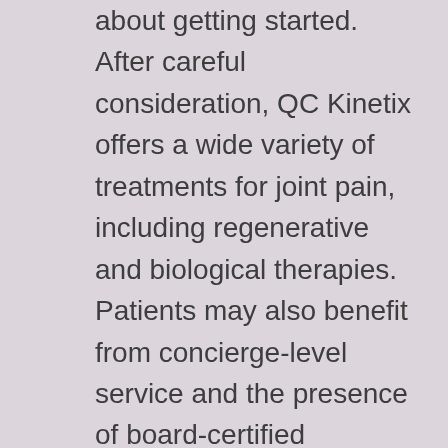about getting started. After careful consideration, QC Kinetix offers a wide variety of treatments for joint pain, including regenerative and biological therapies. Patients may also benefit from concierge-level service and the presence of board-certified physicians. These highly-qualified physicians will assess the severity of the pain, identify underlying causes, and offer the